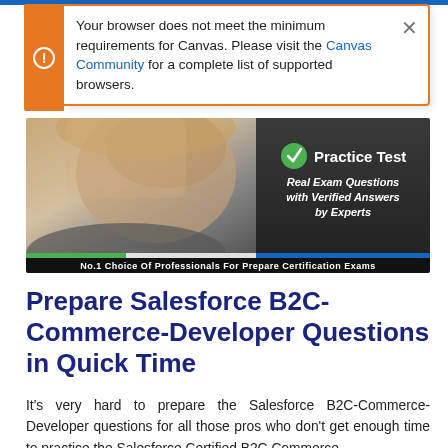Your browser does not meet the minimum requirements for Canvas. Please visit the Canvas Community for a complete list of supported browsers.
[Figure (screenshot): Practice test banner showing a person studying with text: Practice Test - Real Exam Questions with Verified Answers by Experts. Bottom bar: No.1 Choice Of Professionals For Prepare Certification Exams]
Prepare Salesforce B2C-Commerce-Developer Questions in Quick Time
It's very hard to prepare the Salesforce B2C-Commerce-Developer questions for all those pros who don't get enough time to practice the Salesforce Certified B2C Commerce